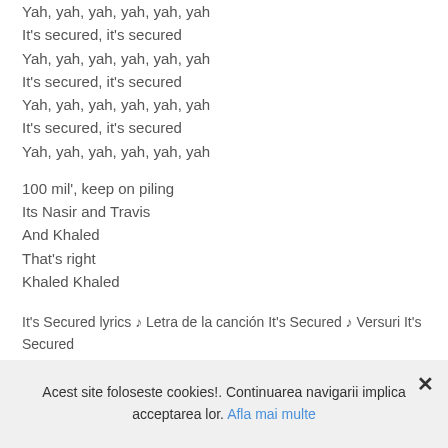Yah, yah, yah, yah, yah, yah
It's secured, it's secured
Yah, yah, yah, yah, yah, yah
It's secured, it's secured
Yah, yah, yah, yah, yah, yah
It's secured, it's secured
Yah, yah, yah, yah, yah, yah
100 mil', keep on piling
Its Nasir and Travis
And Khaled
That's right
Khaled Khaled
It's Secured lyrics ♪ Letra de la canción It's Secured ♪ Versuri It's Secured
Acest site foloseste cookies!. Continuarea navigarii implica acceptarea lor. Afla mai multe